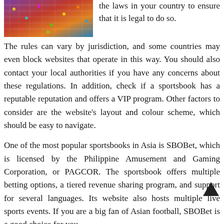[Figure (photo): Photo of a casino or gaming venue with colorful slot machines or electronic gaming equipment, viewed from an angle showing rows of machines.]
the laws in your country to ensure that it is legal to do so. The rules can vary by jurisdiction, and some countries may even block websites that operate in this way. You should also contact your local authorities if you have any concerns about these regulations. In addition, check if a sportsbook has a reputable reputation and offers a VIP program. Other factors to consider are the website's layout and colour scheme, which should be easy to navigate.
One of the most popular sportsbooks in Asia is SBOBet, which is licensed by the Philippine Amusement and Gaming Corporation, or PAGCOR. The sportsbook offers multiple betting options, a tiered revenue sharing program, and support for several languages. Its website also hosts multiple live sports events. If you are a big fan of Asian football, SBOBet is a good choice for you.